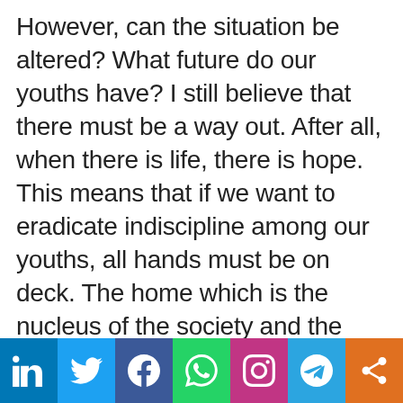However, can the situation be altered? What future do our youths have? I still believe that there must be a way out. After all, when there is life, there is hope. This means that if we want to eradicate indiscipline among our youths, all hands must be on deck. The home which is the nucleus of the society and the government must be ready and committed to inculcate discipline in our youths. I want to use this opportunity to advise all parents to spare time to train their children and teach them moral lessons. Parents should also give them sound education because the youths are the leaders of tomorrow. The future of our country depends on how well we train our children.
[Figure (infographic): Social media sharing bar with icons for LinkedIn, Twitter, Facebook, WhatsApp, Instagram, Telegram, and a generic share button]